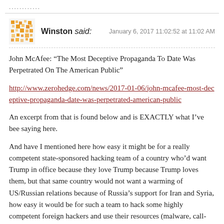............
Winston said:   January 6, 2017 11:02:52 at 11:02 AM
John McAfee: “The Most Deceptive Propaganda To Date Was Perpetrated On The American Public”
http://www.zerohedge.com/news/2017-01-06/john-mcafee-most-deceptive-propaganda-date-was-perpetrated-american-public
An excerpt from that is found below and is EXACTLY what I’ve bee saying here.
And have I mentioned here how easy it might be for a really competent state-sponsored hacking team of a country who’d want Trump in office because they love Trump because Trump loves them, but that same country would not want a warming of US/Russian relations because of Russia’s support for Iran and Syria, how easy it would be for such a team to hack some highly competent foreign hackers and use their resources (malware, call-back servers) to accomplish BOTH goals at once?
Gosh, what country could that be? The same one that has recently